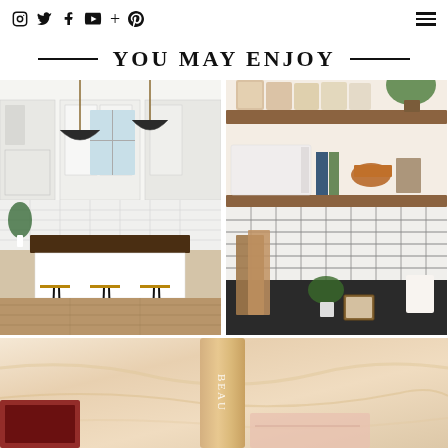Social icons: Instagram, Twitter, Facebook, YouTube, Plus, Pinterest; Hamburger menu
YOU MAY ENJOY
[Figure (photo): Modern white kitchen interior with dark wood island, three wicker bar stools, black pendant lights, subway tile backsplash, and hardwood floors]
[Figure (photo): Kitchen open shelving with glass jars, microwave, copper pots, books, and subway tile backsplash with dark countertop and cutting boards]
[Figure (photo): Beauty products — a cream/beige bottle labeled BEAU... on silk fabric with a small box in the corner]